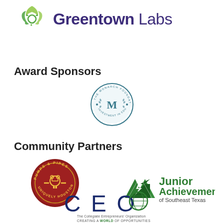[Figure (logo): Greentown Labs logo with green leaf/recycling icon and purple text reading 'Greentown Labs']
Award Sponsors
[Figure (logo): Monarch Foundation circular seal/badge logo in teal/blue with 'M' in center and text around the border]
Community Partners
[Figure (logo): Pumps & Pipes Uniquely Houston circular red badge logo]
[Figure (logo): Junior Achievement of Southeast Texas logo with green triangle and text]
[Figure (logo): CEO - The Collegiate Entrepreneurs' Organization - Creating a World of Opportunities logo]